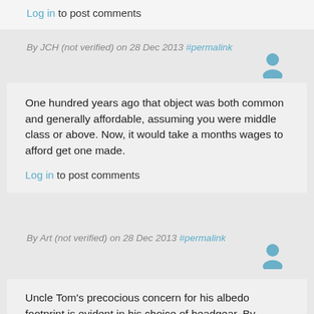Log in to post comments
By JCH (not verified) on 28 Dec 2013 #permalink
[Figure (illustration): User avatar icon in blue/grey]
One hundred years ago that object was both common and generally affordable, assuming you were middle class or above. Now, it would take a months wages to afford get one made.
Log in to post comments
By Art (not verified) on 28 Dec 2013 #permalink
[Figure (illustration): User avatar icon in blue/grey]
Uncle Tom's precocious concern for his albedo footprint is evident in his choice of headgear. By removing a beaver from circulation, he put paid to the…